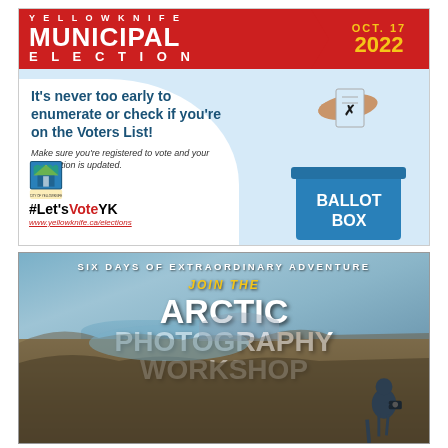[Figure (infographic): Yellowknife Municipal Election advertisement for October 17, 2022. Red header with 'YELLOWKNIFE MUNICIPAL ELECTION' text and date. Light blue background with text 'It’s never too early to enumerate or check if you’re on the Voters List!' and italic text 'Make sure you’re registered to vote and your information is updated.' City of Yellowknife crest logo, hashtag #Let’sVoteYK, website www.yellowknife.ca/elections. Illustration of hand dropping ballot into a blue ballot box labeled 'BALLOT BOX'.]
[Figure (infographic): Advertisement for Arctic Photography Workshop. Background photo of arctic tundra landscape with water and hills. Text reads: 'SIX DAYS OF EXTRAORDINARY ADVENTURE', 'JOIN THE', 'ARCTIC PHOTOGRAPHY WORKSHOP'. Silhouette of photographer with camera on tripod in lower right.]